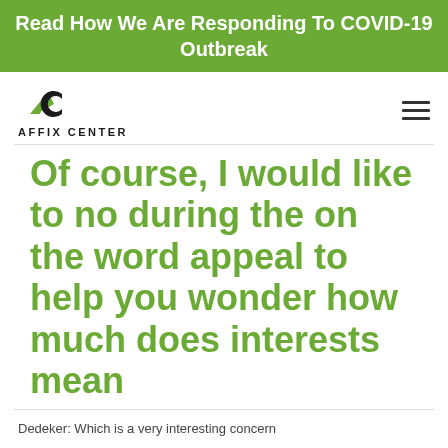Read How We Are Responding To COVID-19 Outbreak
[Figure (logo): Affix Center logo with AC monogram and text AFFIX CENTER]
Of course, I would like to no during the on the word appeal to help you wonder how much does interests mean
Dedeker: Which is a very interesting concern